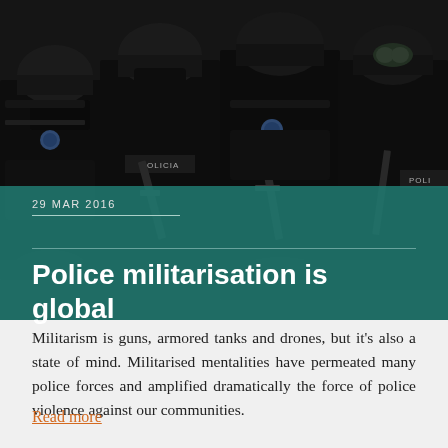[Figure (photo): Heavily armed police officers in black tactical gear and helmets holding rifles, with 'POLICIA' visible on one officer's uniform]
29 MAR 2016
Police militarisation is global
Militarism is guns, armored tanks and drones, but it's also a state of mind. Militarised mentalities have permeated many police forces and amplified dramatically the force of police violence against our communities.
Read more